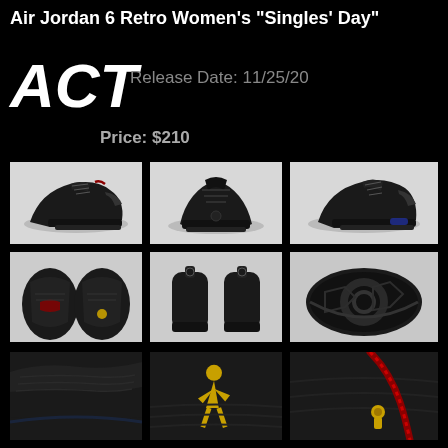Air Jordan 6 Retro Women's "Singles' Day"
Release Date: 11/25/20
Price: $210
[Figure (photo): Air Jordan 6 Retro Women's Singles Day sneaker - 9 product photos showing different angles: side view left, front view, side view right, top view, back view pair, sole view, detail close-up of leather/toe, Jumpman logo detail, lace/heel detail]
[Figure (photo): Front/side angle of black Air Jordan 6]
[Figure (photo): Side view of black Air Jordan 6]
[Figure (photo): Top-down view of pair]
[Figure (photo): Back view of pair]
[Figure (photo): Sole bottom view]
[Figure (photo): Close-up of leather toe area]
[Figure (photo): Gold Jumpman logo detail]
[Figure (photo): Red braided lace and gold detail]